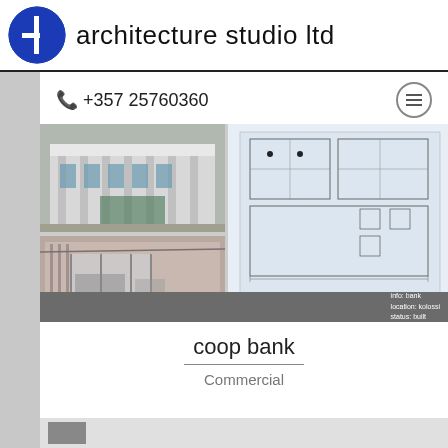[Figure (logo): Blue circle logo with a vertical line and horizontal dash in white, architecture studio ltd logo]
architecture studio ltd
📞 +357 25760360
[Figure (photo): Composite image showing architectural photos and blueprint drawings of coop bank project including building exterior, interior, and floor plans. Info overlay: info: bank, location: kolossi, status: built]
coop bank
Commercial
[Figure (photo): Partial bottom strip showing another project thumbnail]